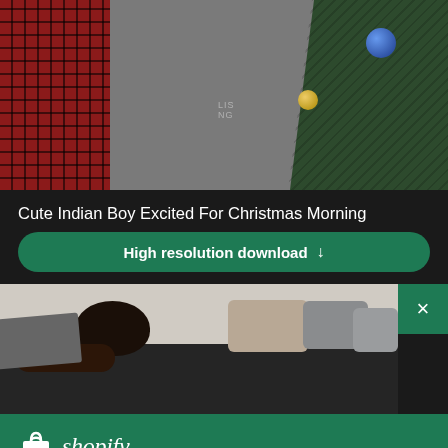[Figure (photo): Partial view of people near a Christmas tree — red plaid jacket on left, gray sweater in center, green tree with blue ornament on right]
Cute Indian Boy Excited For Christmas Morning
High resolution download ↓
[Figure (photo): Person lying on dark sofa with laptop, pillows behind them, interior room setting. Close (X) button in top-right corner.]
[Figure (logo): Shopify logo with shopping bag icon and italic wordmark]
Need an online store for your business?
Start free trial